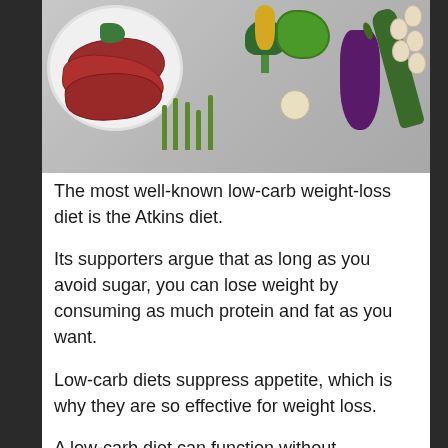[Figure (photo): Top-down photo of low-carb diet foods: a white plate with raw red meat slices garnished with herbs, surrounded by broccoli, asparagus, lettuce, eggplant, zucchini, yellow pepper, garlic, and quail eggs on a grey background.]
The most well-known low-carb weight-loss diet is the Atkins diet.
Its supporters argue that as long as you avoid sugar, you can lose weight by consuming as much protein and fat as you want.
Low-carb diets suppress appetite, which is why they are so effective for weight loss.
A low-carb diet can function without...